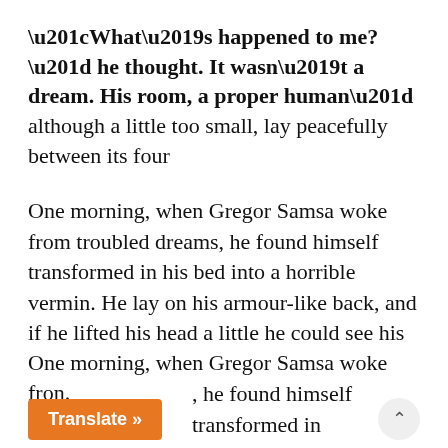“What’s happened to me?” he thought. It wasn’t a dream. His room, a proper human” although a little too small, lay peacefully between its four
One morning, when Gregor Samsa woke from troubled dreams, he found himself transformed in his bed into a horrible vermin. He lay on his armour-like back, and if he lifted his head a little he could see his brown belly, slightly domed and divided by arches into stiff sections.
One morning, when Gregor Samsa woke fron. t he found himself transformed in
[Figure (screenshot): Orange 'Translate »' button UI overlay at bottom left, with a circular chevron-up button at bottom right]